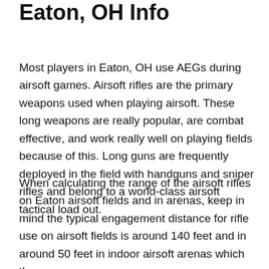Eaton, OH Info
Most players in Eaton, OH use AEGs during airsoft games. Airsoft rifles are the primary weapons used when playing airsoft. These long weapons are really popular, are combat effective, and work really well on playing fields because of this. Long guns are frequently deployed in the field with handguns and sniper rifles and belong to a world-class airsoft tactical load out.
When calculating the range of the airsoft rifles on Eaton airsoft fields and in arenas, keep in mind the typical engagement distance for rifle use on airsoft fields is around 140 feet and in around 50 feet in indoor airsoft arenas which the gun can manage